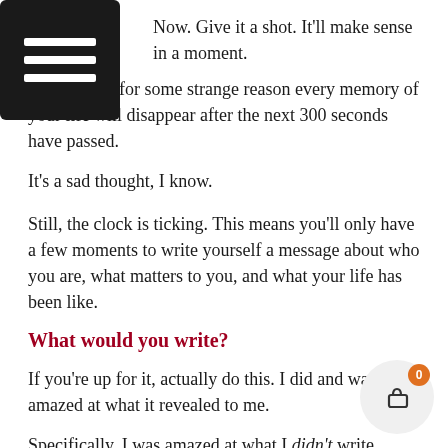[Figure (other): Black hamburger menu icon (three white horizontal bars on dark background)]
Now. Give it a shot. It'll make sense in a moment.
Pretend that for some strange reason every memory of your life will disappear after the next 300 seconds have passed.
It's a sad thought, I know.
Still, the clock is ticking. This means you'll only have a few moments to write yourself a message about who you are, what matters to you, and what your life has been like.
What would you write?
If you're up for it, actually do this. I did and was amazed at what it revealed to me.
Specifically, I was amazed at what I didn't write.
I had to home in on the things that matter most in the world...